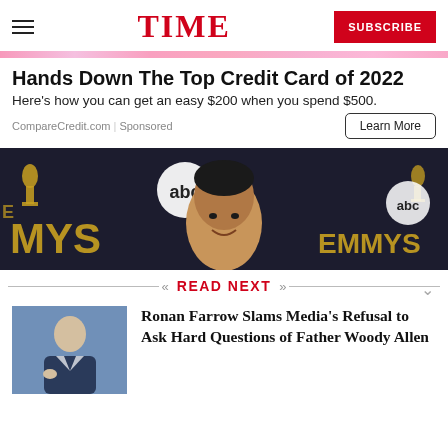TIME
[Figure (photo): Colorful gradient banner/decorative strip]
Hands Down The Top Credit Card of 2022
Here's how you can get an easy $200 when you spend $500.
CompareCredit.com | Sponsored
[Figure (photo): Man smiling at Emmys red carpet event; ABC and Emmys logos visible in background]
READ NEXT
[Figure (photo): Thumbnail photo of Ronan Farrow in suit speaking]
Ronan Farrow Slams Media's Refusal to Ask Hard Questions of Father Woody Allen